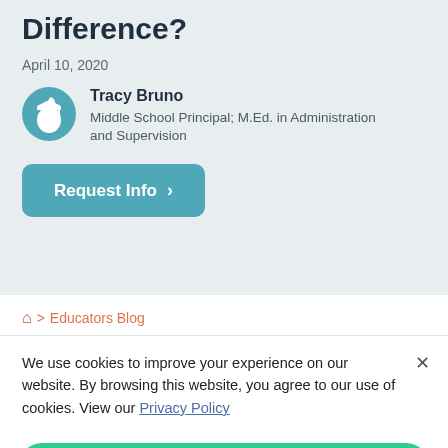Difference?
April 10, 2020
Tracy Bruno
Middle School Principal; M.Ed. in Administration and Supervision
Request Info >
> Educators Blog
We use cookies to improve your experience on our website. By browsing this website, you agree to our use of cookies. View our Privacy Policy
Accept